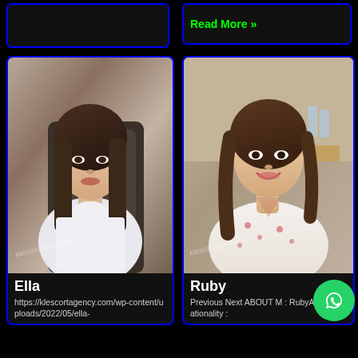[Figure (other): Empty dark box top left]
Read More »
[Figure (photo): Photo of woman named Ella sitting in a car, wearing a white lace top, long dark hair, watermark klescortagency.com]
Ella
https://klescortagency.com/wp-content/uploads/2022/05/ella-
[Figure (photo): Photo of smiling woman named Ruby wearing floral dress, long wavy hair, watermark klescortagency.com]
Ruby
Previous Next ABOUT M : RubyAge : 23Nationality :
[Figure (other): WhatsApp contact button]